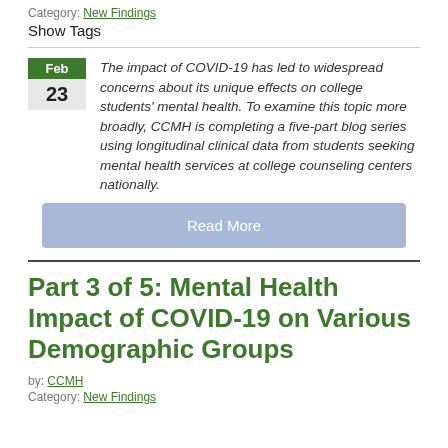Category: New Findings
Show Tags
The impact of COVID-19 has led to widespread concerns about its unique effects on college students' mental health. To examine this topic more broadly, CCMH is completing a five-part blog series using longitudinal clinical data from students seeking mental health services at college counseling centers nationally.
Read More
Part 3 of 5: Mental Health Impact of COVID-19 on Various Demographic Groups
by: CCMH
Category: New Findings